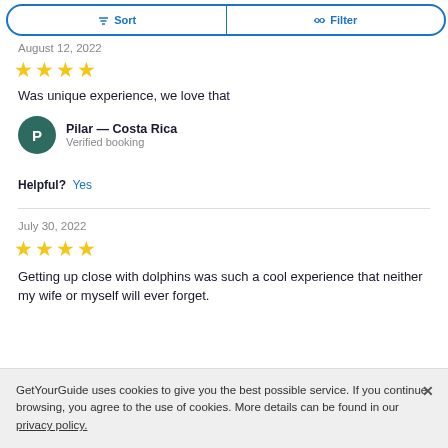[Figure (screenshot): Sort and Filter button bar at top of page, blue outlined pill button with Sort and Filter options]
August 12, 2022
[Figure (other): 4 gold star rating]
Was unique experience, we love that
Pilar — Costa Rica
Verified booking
Helpful?  Yes
July 30, 2022
[Figure (other): 4 gold star rating]
Getting up close with dolphins was such a cool experience that neither my wife or myself will ever forget.
GetYourGuide uses cookies to give you the best possible service. If you continue browsing, you agree to the use of cookies. More details can be found in our privacy policy.